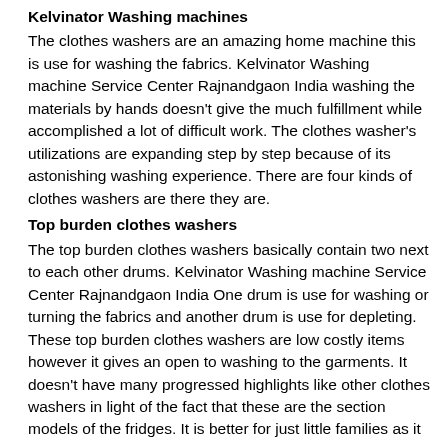Kelvinator Washing machines
The clothes washers are an amazing home machine this is use for washing the fabrics. Kelvinator Washing machine Service Center Rajnandgaon India washing the materials by hands doesn't give the much fulfillment while accomplished a lot of difficult work. The clothes washer's utilizations are expanding step by step because of its astonishing washing experience. There are four kinds of clothes washers are there they are.
Top burden clothes washers
The top burden clothes washers basically contain two next to each other drums. Kelvinator Washing machine Service Center Rajnandgaon India One drum is use for washing or turning the fabrics and another drum is use for depleting. These top burden clothes washers are low costly items however it gives an open to washing to the garments. It doesn't have many progressed highlights like other clothes washers in light of the fact that these are the section models of the fridges. It is better for just little families as it were.
Front load washing machine